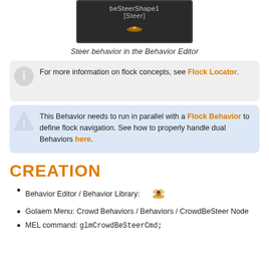[Figure (screenshot): Screenshot of beSteerShape1 [Steer] node in the Behavior Editor]
Steer behavior in the Behavior Editor
For more information on flock concepts, see Flock Locator.
This Behavior needs to run in parallel with a Flock Behavior to define flock navigation. See how to properly handle dual Behaviors here.
CREATION
Behavior Editor / Behavior Library: [icon]
Golaem Menu: Crowd Behaviors / Behaviors / CrowdBeSteer Node
MEL command: glmCrowdBeSteerCmd;